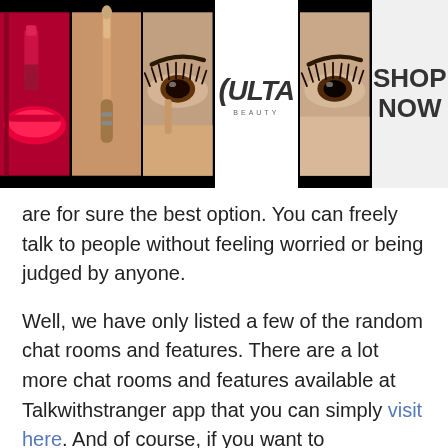[Figure (photo): Ulta Beauty advertisement banner showing makeup imagery (lips, brush, eye makeup) with Ulta Beauty logo and SHOP NOW call to action]
are for sure the best option. You can freely talk to people without feeling worried or being judged by anyone.
Well, we have only listed a few of the random chat rooms and features. There are a lot more chat rooms and features available at Talkwithstranger app that you can simply visit here. And of course, if you want to experience the real-time online journey, you can download an app. Have a happy chat with new online
[Figure (screenshot): Groupon advertisement banner: Groupon Official Site | Online Shopping Deals - Discover & Save with Over 300k of the Best Deals - www.groupon.com, with a blue arrow button on the right]